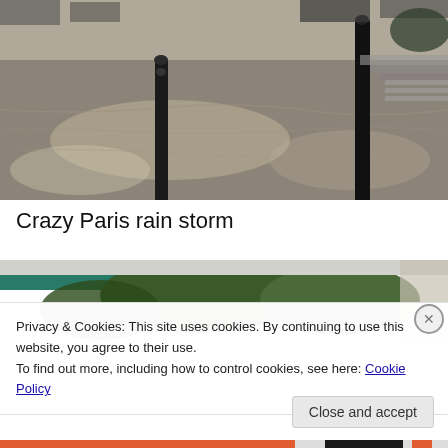[Figure (photo): Rainy Paris street scene with bollards and wet pavement, viewed from above]
Crazy Paris rain storm
[Figure (photo): Second photo showing trees with overcast sky, partially obscured by cookie banner]
Privacy & Cookies: This site uses cookies. By continuing to use this website, you agree to their use.
To find out more, including how to control cookies, see here: Cookie Policy
Close and accept